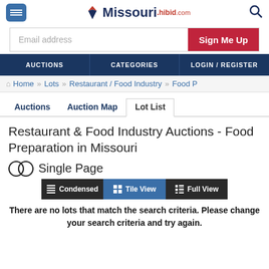Missouri.hibid.com
Email address | Sign Me Up
AUCTIONS | CATEGORIES | LOGIN / REGISTER
Home » Lots » Restaurant / Food Industry » Food P
Auctions | Auction Map | Lot List
Restaurant & Food Industry Auctions - Food Preparation in Missouri
Single Page
Condensed | Tile View | Full View
There are no lots that match the search criteria. Please change your search criteria and try again.